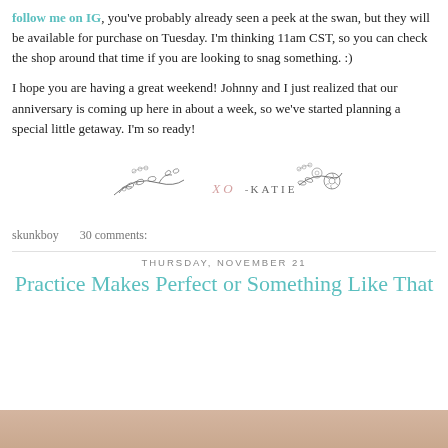follow me on IG, you've probably already seen a peek at the swan, but they will be available for purchase on Tuesday.  I'm thinking 11am CST, so you can check the shop around that time if you are looking to snag something.  :)
I hope you are having a great weekend!  Johnny and I just realized that our anniversary is coming up here in about a week, so we've started planning a special little getaway.  I'm so ready!
[Figure (illustration): Decorative floral signature reading XO-KATIE with hand-drawn botanical elements including leaves and flowers]
skunkboy    30 comments:
THURSDAY, NOVEMBER 21
Practice Makes Perfect or Something Like That
[Figure (photo): Partial photo of a person smiling, cropped at bottom of page]